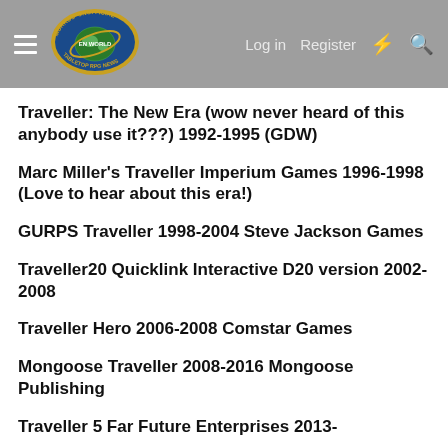Morrus' Unofficial Tabletop RPG News — Log in  Register
Traveller: The New Era (wow never heard of this anybody use it???) 1992-1995 (GDW)
Marc Miller's Traveller Imperium Games 1996-1998 (Love to hear about this era!)
GURPS Traveller 1998-2004 Steve Jackson Games
Traveller20 Quicklink Interactive D20 version 2002-2008
Traveller Hero 2006-2008 Comstar Games
Mongoose Traveller 2008-2016 Mongoose Publishing
Traveller 5 Far Future Enterprises 2013-